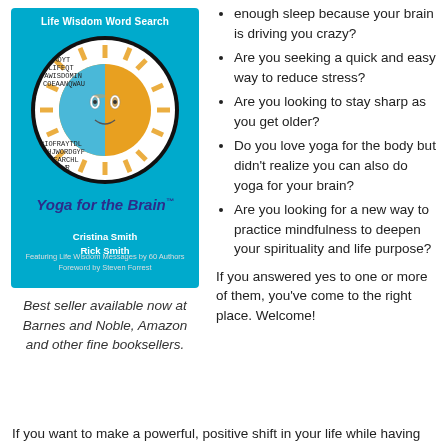[Figure (illustration): Book cover for 'Life Wisdom Word Search' by Cristina Smith and Rick Smith. Teal/cyan background with a word search puzzle inside a circle, featuring a sun/moon face illustration in the center. Text reads 'Yoga for the Brain'. Subtitle: 'Featuring Life Wisdom Messages by 60 Authors, Foreword by Steven Forrest'.]
enough sleep because your brain is driving you crazy?
Are you seeking a quick and easy way to reduce stress?
Are you looking to stay sharp as you get older?
Do you love yoga for the body but didn't realize you can also do yoga for your brain?
Are you looking for a new way to practice mindfulness to deepen your spirituality and life purpose?
Best seller available now at Barnes and Noble, Amazon and other fine booksellers.
If you answered yes to one or more of them, you've come to the right place. Welcome!
If you want to make a powerful, positive shift in your life while having